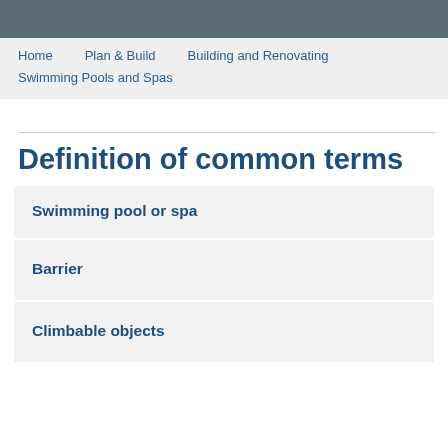Home    Plan & Build    Building and Renovating
Swimming Pools and Spas
Definition of common terms
Swimming pool or spa
Barrier
Climbable objects